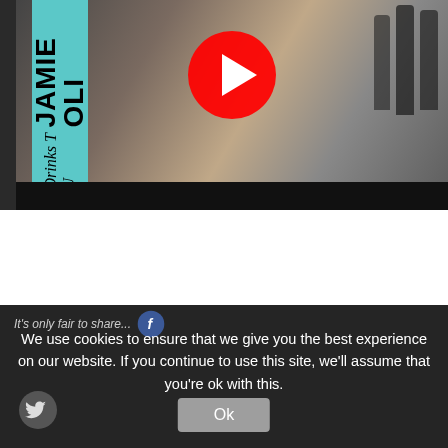[Figure (screenshot): Jamie Oliver Drinks Tube YouTube video thumbnail showing a man in a vest holding a wine bottle in a wine shop, with a YouTube play button overlay and a teal sidebar with text 'JAMIE OLI...' and 'Drinks T U']
It's only fair to share...
We use cookies to ensure that we give you the best experience on our website. If you continue to use this site, we'll assume that you're ok with this.
Ok